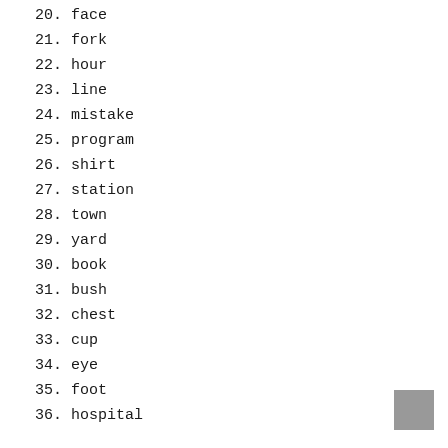20. face
21. fork
22. hour
23. line
24. mistake
25. program
26. shirt
27. station
28. town
29. yard
30. book
31. bush
32. chest
33. cup
34. eye
35. foot
36. hospital